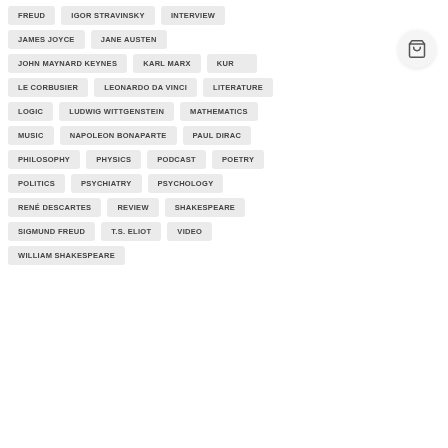FREUD
IGOR STRAVINSKY
INTERVIEW
JAMES JOYCE
JANE AUSTEN
JOHN MAYNARD KEYNES
KARL MARX
KURT [partially hidden]
LE CORBUSIER
LEONARDO DA VINCI
LITERATURE
LOGIC
LUDWIG WITTGENSTEIN
MATHEMATICS
MUSIC
NAPOLEON BONAPARTE
PAUL DIRAC
PHILOSOPHY
PHYSICS
PODCAST
POETRY
POLITICS
PSYCHIATRY
PSYCHOLOGY
RENÉ DESCARTES
REVIEW
SHAKESPEARE
SIGMUND FREUD
T.S. ELIOT
VIDEO
WILLIAM SHAKESPEARE